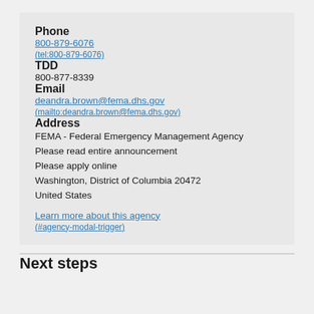Phone
800-879-6076
(tel:800-879-6076)
TDD
800-877-8339
Email
deandra.brown@fema.dhs.gov
(mailto:deandra.brown@fema.dhs.gov)
Address
FEMA - Federal Emergency Management Agency
Please read entire announcement
Please apply online
Washington, District of Columbia 20472
United States
Learn more about this agency
(#agency-modal-trigger)
Next steps